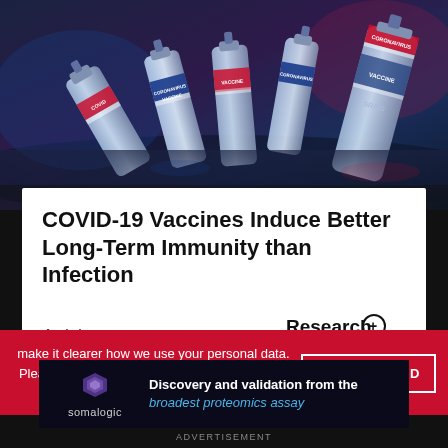[Figure (photo): Multiple COVID-19 vaccine vials on a reflective surface with purple-blue lighting, labels reading COVID, CORONAVIRUS VACCINE, and similar text. Some vials have red and blue label bands.]
COVID-19 Vaccines Induce Better Long-Term Immunity than Infection
Article
[Figure (logo): Research+ Resources logo with circular icon containing a plus sign and magnifying glass symbol]
make it clearer how we use your personal data.
Please read our Cookie Policy to learn how we use cookies to provide you
I UNDERSTAND
[Figure (logo): Somalogic logo with purple/blue geometric icon]
Discovery and validation from the broadest proteomics assay
ADVERTISEMENT